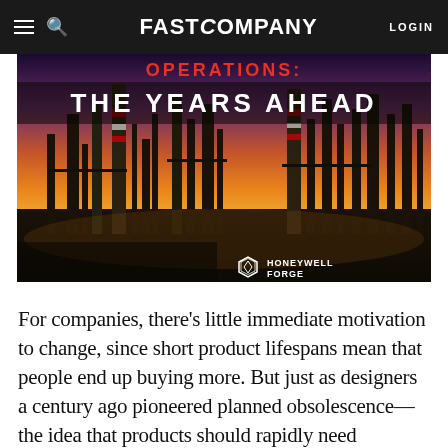Fast Company — LOGIN
[Figure (photo): Advertisement for Honeywell Forge showing an industrial refinery/plant at dusk with orange and purple sky. Text overlay reads 'OPERATIONS: THE YEARS AHEAD'. Honeywell Forge logo in lower left.]
For companies, there's little immediate motivation to change, since short product lifespans mean that people end up buying more. But just as designers a century ago pioneered planned obsolescence—the idea that products should rapidly need replacement, either because of frequent upgrades, cheap materials, or because they intentionally make it impossible to